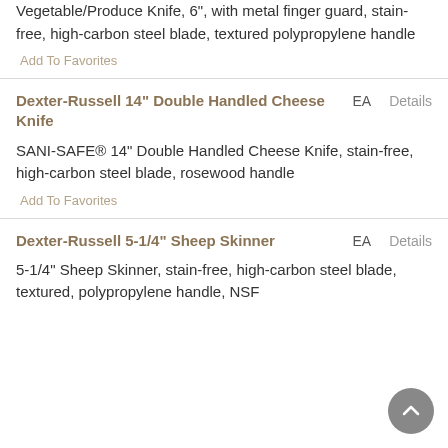Vegetable/Produce Knife, 6", with metal finger guard, stain-free, high-carbon steel blade, textured polypropylene handle
Add To Favorites
Dexter-Russell 14" Double Handled Cheese Knife
EA
Details
SANI-SAFE® 14" Double Handled Cheese Knife, stain-free, high-carbon steel blade, rosewood handle
Add To Favorites
Dexter-Russell 5-1/4" Sheep Skinner
EA
Details
5-1/4" Sheep Skinner, stain-free, high-carbon steel blade, textured, polypropylene handle, NSF